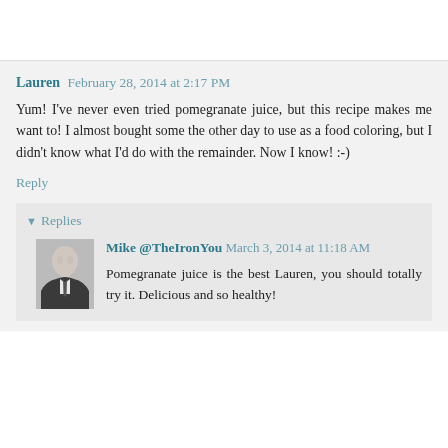Lauren February 28, 2014 at 2:17 PM
Yum! I've never even tried pomegranate juice, but this recipe makes me want to! I almost bought some the other day to use as a food coloring, but I didn't know what I'd do with the remainder. Now I know! :-)
Reply
Replies
[Figure (photo): Avatar photo of Mike @TheIronYou — black and white portrait of a man in a suit and tie]
Mike @TheIronYou March 3, 2014 at 11:18 AM
Pomegranate juice is the best Lauren, you should totally try it. Delicious and so healthy!